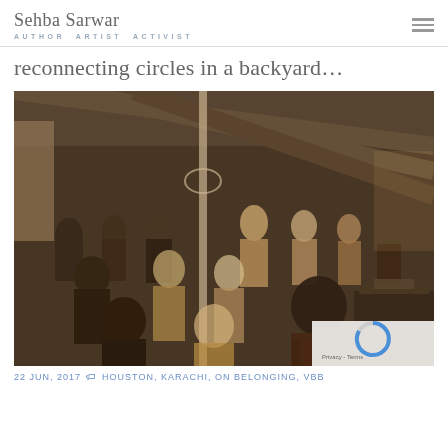Sehba Sarwar AUTHOR ARTIST ACTIVIST
reconnecting circles in a backyard…
[Figure (photo): A large group of people gathered in a backyard under a canopy/tent at night, some seated and some standing, attending an event or gathering. The photo has a warm sepia/amber tone.]
22 JUN, 2017   🏷 HOUSTON, KARACHI, ON BELONGING, VBB